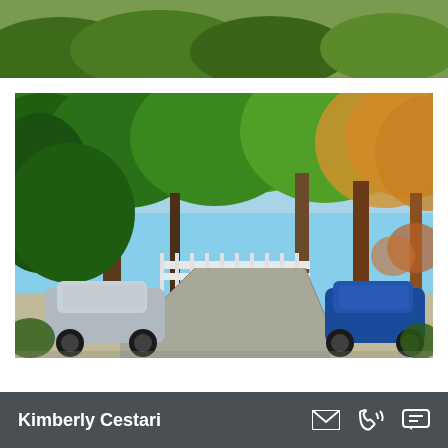[Figure (photo): Partial top view of an outdoor area with green shrubs/hedges and people walking on a sidewalk, sunny day]
[Figure (photo): Tree-lined residential suburban street with cars parked on both sides, large green and autumn-colored trees overhanging the road, clear sunny day]
Kimberly Cestari